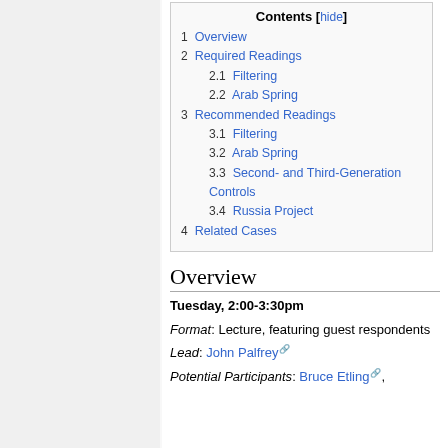| Contents [hide] |
| --- |
| 1  Overview |
| 2  Required Readings |
| 2.1  Filtering |
| 2.2  Arab Spring |
| 3  Recommended Readings |
| 3.1  Filtering |
| 3.2  Arab Spring |
| 3.3  Second- and Third-Generation Controls |
| 3.4  Russia Project |
| 4  Related Cases |
Overview
Tuesday, 2:00-3:30pm
Format: Lecture, featuring guest respondents
Lead: John Palfrey
Potential Participants: Bruce Etling,